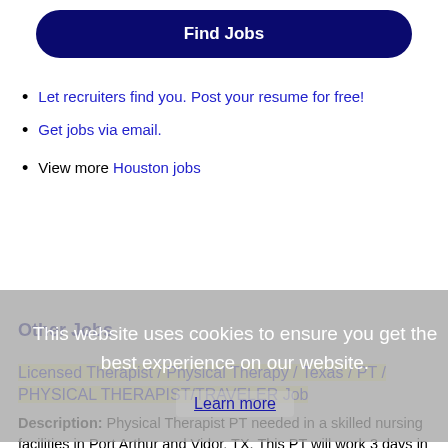Find Jobs
Let recruiters find you. Post your resume for free!
Get jobs via email.
View more Houston jobs
This website uses cookies to ensure you get the best experience on our website. Learn more
Other Jobs
Licensed Therapist / Physical Therapy / Texas / PT / PHYSICAL THERAPIST/TRAVELER Job
Description: Physical Therapist PT needed in a skilled nursing facilities in Port Arthur and Vidor, TX. This PT will work 3 days in Port Arthur and 2 days in Vidor. Candidates must be capable and